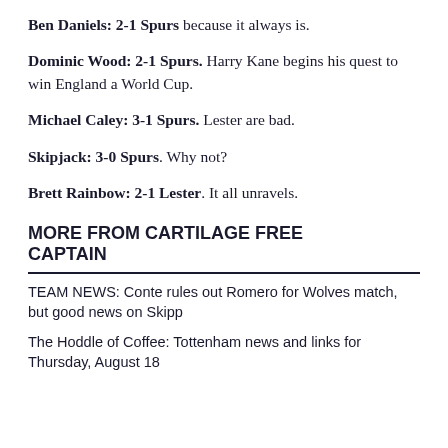Ben Daniels: 2-1 Spurs because it always is.
Dominic Wood: 2-1 Spurs. Harry Kane begins his quest to win England a World Cup.
Michael Caley: 3-1 Spurs. Lester are bad.
Skipjack: 3-0 Spurs. Why not?
Brett Rainbow: 2-1 Lester. It all unravels.
MORE FROM CARTILAGE FREE CAPTAIN
TEAM NEWS: Conte rules out Romero for Wolves match, but good news on Skipp
The Hoddle of Coffee: Tottenham news and links for Thursday, August 18